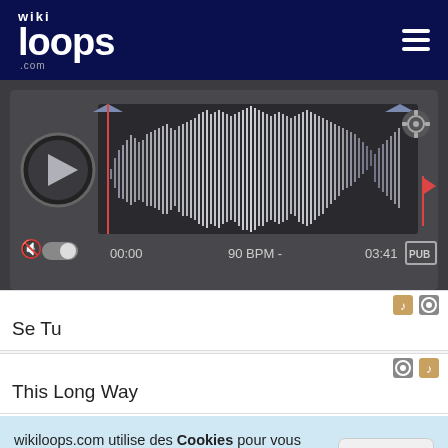wikiloops.com
[Figure (screenshot): Audio player with waveform display, play button, time markers 00:00 and 03:41, 90 BPM, PUB label, gear icon, volume/mute control]
Se Tu
This Long Way
wikiloops.com utilise des Cookies pour vous apporter la meilleure expérience de navigation. En apprendre plus sur notre charte des données privées .
OK, pigé